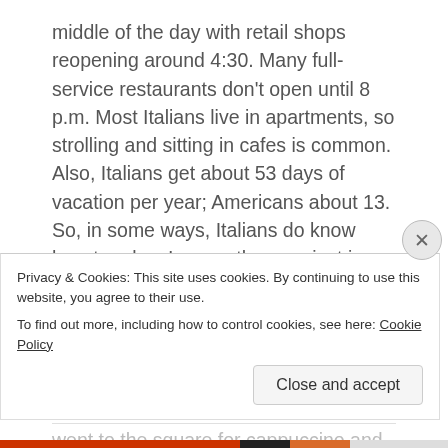middle of the day with retail shops reopening around 4:30. Many full-service restaurants don't open until 8 p.m. Most Italians live in apartments, so strolling and sitting in cafes is common. Also, Italians get about 53 days of vacation per year; Americans about 13. So, in some ways, Italians do know how to relax. I guess they are just in a hurry to do it.
Thursday
The next morning, I got out of bed before Kathleen and went to the square for cappuccino and pastries and to
Privacy & Cookies: This site uses cookies. By continuing to use this website, you agree to their use.
To find out more, including how to control cookies, see here: Cookie Policy
Close and accept